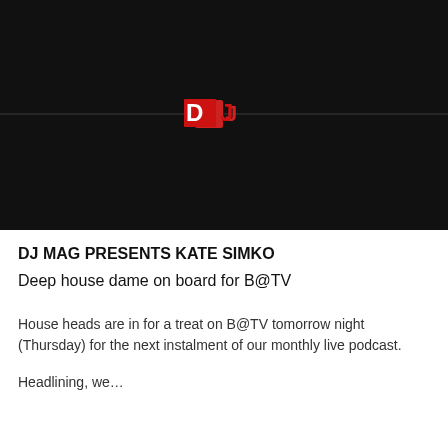[Figure (logo): DJ Mag logo in red on black background, centered in a dark hero image block]
DJ MAG PRESENTS KATE SIMKO
Deep house dame on board for B@TV
House heads are in for a treat on B@TV tomorrow night (Thursday) for the next instalment of our monthly live podcast.
Headlining, we…